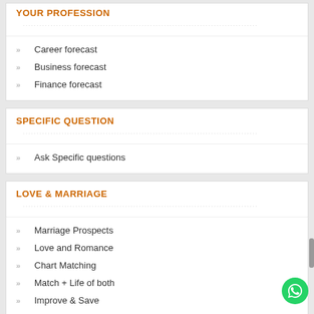YOUR PROFESSION
Career forecast
Business forecast
Finance forecast
SPECIFIC QUESTION
Ask Specific questions
LOVE & MARRIAGE
Marriage Prospects
Love and Romance
Chart Matching
Match + Life of both
Improve & Save